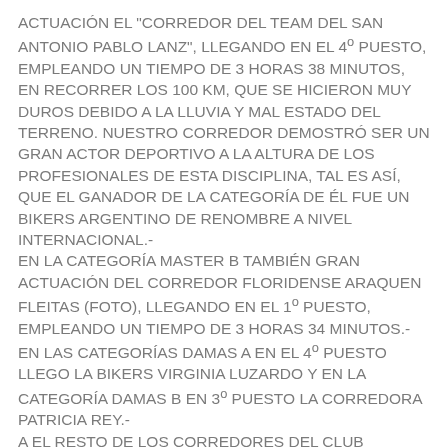ACTUACIÓN EL "CORREDOR DEL TEAM DEL SAN ANTONIO PABLO LANZ", LLEGANDO EN EL 4º PUESTO, EMPLEANDO UN TIEMPO DE 3 HORAS 38 MINUTOS, EN RECORRER LOS 100 KM, QUE SE HICIERON MUY DUROS DEBIDO A LA LLUVIA Y MAL ESTADO DEL TERRENO. NUESTRO CORREDOR DEMOSTRÓ SER UN GRAN ACTOR DEPORTIVO A LA ALTURA DE LOS PROFESIONALES DE ESTA DISCIPLINA, TAL ES ASÍ, QUE EL GANADOR DE LA CATEGORÍA DE ÉL FUE UN BIKERS ARGENTINO DE RENOMBRE A NIVEL INTERNACIONAL.- EN LA CATEGORÍA MASTER B TAMBIÉN GRAN ACTUACIÓN DEL CORREDOR FLORIDENSE ARAQUEN FLEITAS (FOTO), LLEGANDO EN EL 1º PUESTO, EMPLEANDO UN TIEMPO DE 3 HORAS 34 MINUTOS.- EN LAS CATEGORÍAS DAMAS A EN EL 4º PUESTO LLEGO LA BIKERS VIRGINIA LUZARDO Y EN LA CATEGORÍA DAMAS B EN 3º PUESTO LA CORREDORA PATRICIA REY.- A EL RESTO DE LOS CORREDORES DEL CLUB CICLISTA SAN ANTONIO TAMBIÉN TUVIERON UNA BUENA PERFORMANCE, SIENDO ELLOS: JORGE JUIZ,